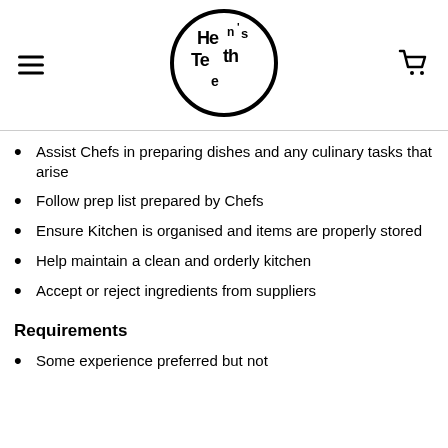[Figure (logo): Hen's Teeth circular logo with stylized text inside a circle]
Assist Chefs in preparing dishes and any culinary tasks that arise
Follow prep list prepared by Chefs
Ensure Kitchen is organised and items are properly stored
Help maintain a clean and orderly kitchen
Accept or reject ingredients from suppliers
Requirements
Some experience preferred but not